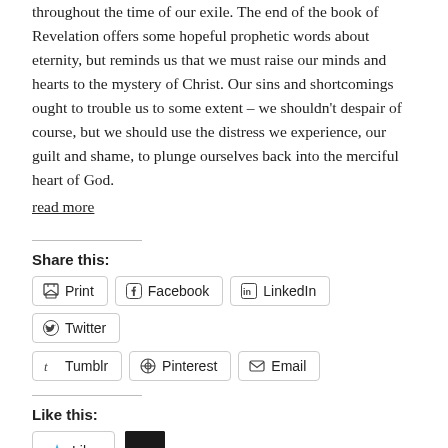throughout the time of our exile.  The end of the book of Revelation offers some hopeful prophetic words about eternity, but reminds us that we must raise our minds and hearts to the mystery of Christ.  Our sins and shortcomings ought to trouble us to some extent – we shouldn't despair of course, but we should use the distress we experience, our guilt and shame, to plunge ourselves back into the merciful heart of God.
read more
Share this:
Print
Facebook
LinkedIn
Twitter
Tumblr
Pinterest
Email
Like this:
Like
One blogger likes this.